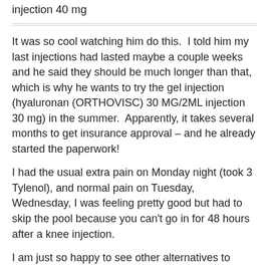injection 40 mg
It was so cool watching him do this.  I told him my last injections had lasted maybe a couple weeks and he said they should be much longer than that, which is why he wants to try the gel injection (hyaluronan (ORTHOVISC) 30 MG/2ML injection 30 mg) in the summer.  Apparently, it takes several months to get insurance approval – and he already started the paperwork!
I had the usual extra pain on Monday night (took 3 Tylenol), and normal pain on Tuesday,  Wednesday, I was feeling pretty good but had to skip the pool because you can't go in for 48 hours after a knee injection.
I am just so happy to see other alternatives to steroids – or